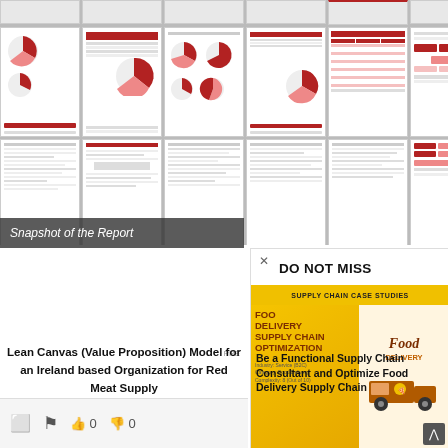[Figure (screenshot): Grid of document page thumbnails showing report pages with pie charts, tables, text pages, and organizational charts in red and white color scheme]
Snapshot of the Report
[Figure (infographic): DO NOT MISS promotional card overlay showing Food Delivery Supply Chain Optimization case study book cover with yellow and brown design]
Be a Functional Supply Chain Consultant and Optimize Food Delivery Supply Chain
PRES
Lean Canvas (Value Proposition) Model for an Ireland based Organization for Red Meat Supply